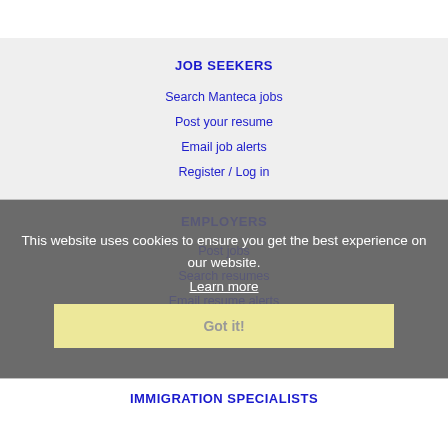JOB SEEKERS
Search Manteca jobs
Post your resume
Email job alerts
Register / Log in
EMPLOYERS
Post jobs
Search resumes
Email resume alerts
Advertise
This website uses cookies to ensure you get the best experience on our website.
Learn more
Got it!
IMMIGRATION SPECIALISTS